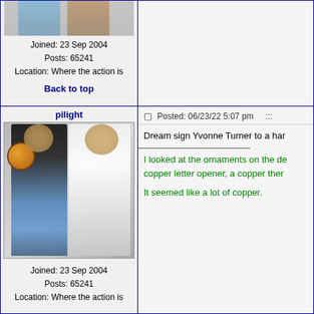[Figure (photo): Cropped bottom of a photo showing legs of two athletes in blue/grey shorts against grey background]
Joined: 23 Sep 2004
Posts: 65241
Location: Where the action is
Back to top
pilight
[Figure (photo): Two Black women posing together. Left woman holds a Spalding basketball, wearing a black Nike sports bra and blue/yellow shorts. Right woman wearing a white dress/swimsuit with curly hair.]
Joined: 23 Sep 2004
Posts: 65241
Location: Where the action is
Posted: 06/23/22 5:07 pm    :::
Dream sign Yvonne Turner to a har
I looked at the ornaments on the de copper letter opener, a copper ther
It seemed like a lot of copper.